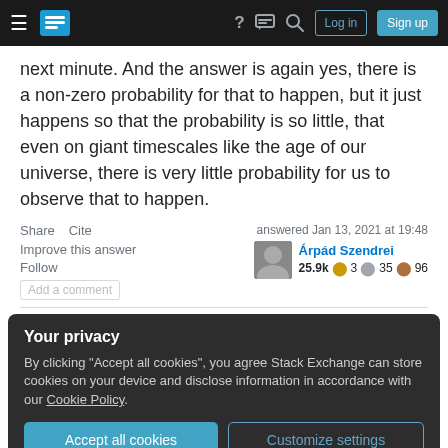Stack Exchange navigation bar with hamburger, logo, help, chat, search, Log in, Sign up
next minute. And the answer is again yes, there is a non-zero probability for that to happen, but it just happens so that the probability is so little, that even on giant timescales like the age of our universe, there is very little probability for us to observe that to happen.
Share   Cite
Improve this answer
Follow
Add a comment
answered Jan 13, 2021 at 19:48
Árpád Szendrei
25.9k ●3 ●35 ●96
Your privacy
By clicking "Accept all cookies", you agree Stack Exchange can store cookies on your device and disclose information in accordance with our Cookie Policy.
Accept all cookies   Customize settings
actually mean. for some perspective: